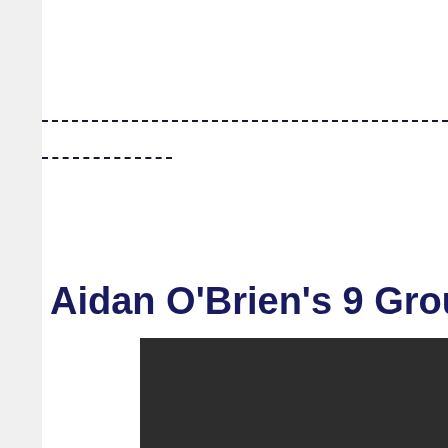Aidan O'Brien's 9 Group On
[Figure (other): Dark rectangular box at bottom of page]